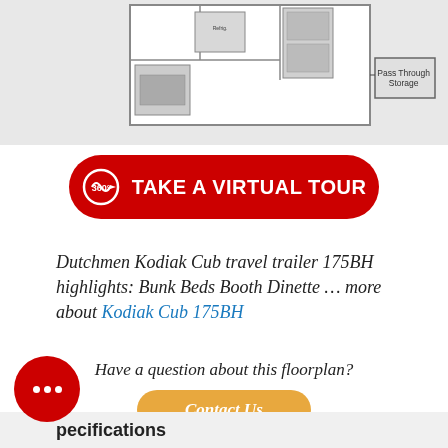[Figure (illustration): Floor plan illustration of Dutchmen Kodiak Cub travel trailer 175BH showing interior layout with bunk beds, booth dinette, and pass through storage label]
360° TAKE A VIRTUAL TOUR
Dutchmen Kodiak Cub travel trailer 175BH highlights: Bunk Beds Booth Dinette … more about Kodiak Cub 175BH
Have a question about this floorplan?
Contact Us
pecifications